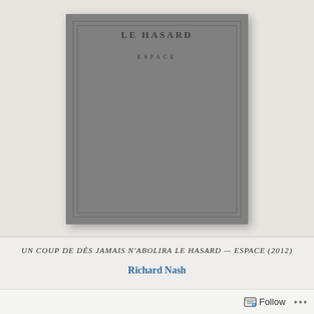[Figure (photo): Photograph of a gray book cover with the title 'LE HASARD' at the top (partially visible) and 'ESPACE' in the center, with decorative double-border frame on the cover. Book lies on a white/light surface.]
UN COUP DE DÉS JAMAIS N'ABOLIRA LE HASARD — ESPACE (2012)
Richard Nash
...